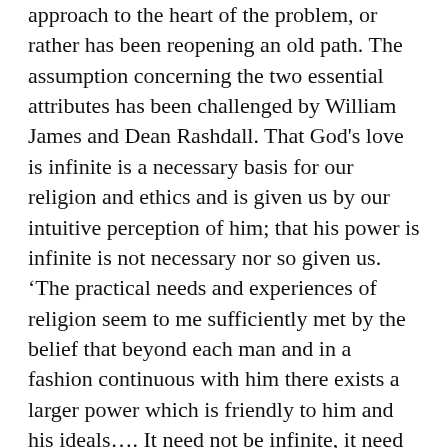approach to the heart of the problem, or rather has been reopening an old path. The assumption concerning the two essential attributes has been challenged by William James and Dean Rashdall. That God's love is infinite is a necessary basis for our religion and ethics and is given us by our intuitive perception of him; that his power is infinite is not necessary nor so given us. ‘The practical needs and experiences of religion seem to me sufficiently met by the belief that beyond each man and in a fashion continuous with him there exists a larger power which is friendly to him and his ideals…. It need not be infinite, it need not be solitary.’³³ The statement has the flatness of American ‘pragmatism’. The theory is expressed more philosophically and with more religious depth by Dean Rashdall in his Theory of Good and Evil,³⁴ where his position may be briefly summarized thus: God created souls, even the bad